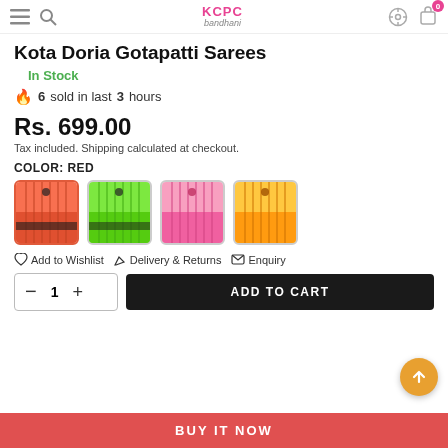KCPC Bandhani — navigation header with menu, search, settings, cart icons
Kota Doria Gotapatti Sarees
In Stock
6 sold in last 3 hours
Rs. 699.00
Tax included. Shipping calculated at checkout.
COLOR: RED
[Figure (photo): Four color swatches of Kota Doria Gotapatti Sarees: red (selected), green, pink, orange]
Add to Wishlist   Delivery & Returns   Enquiry
Quantity selector: minus, 1, plus — ADD TO CART button
BUY IT NOW